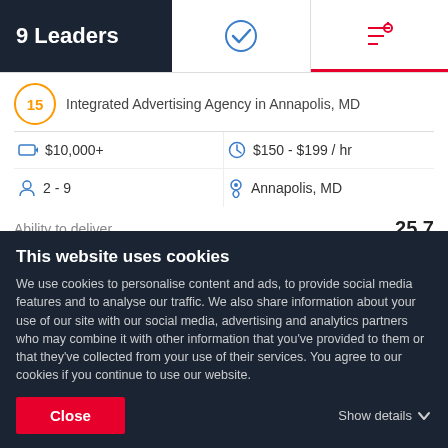9 Leaders
Integrated Advertising Agency in Annapolis, MD
|  | Value |  | Value |
| --- | --- | --- | --- |
| [tag icon] | $10,000+ | [clock icon] | $150 - $199 / hr |
| [person icon] | 2 - 9 | [location icon] | Annapolis, MD |
Ability to deliver    25.7
[Figure (stacked-bar-chart): Ability to deliver]
This website uses cookies
We use cookies to personalise content and ads, to provide social media features and to analyse our traffic. We also share information about your use of our site with our social media, advertising and analytics partners who may combine it with other information that you've provided to them or that they've collected from your use of their services. You agree to our cookies if you continue to use our website.
Close
Show details